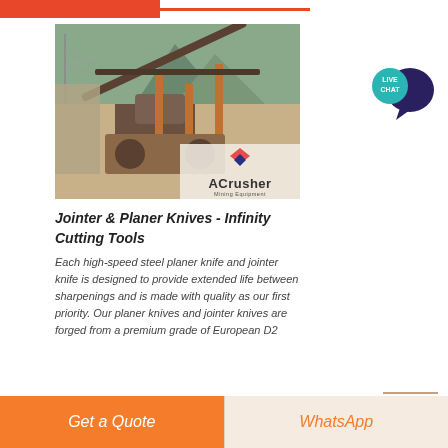[Figure (photo): Industrial crushing/mining equipment facility with conveyor belts and machinery, with ACrusher Mining Equipment logo overlay in bottom right]
Jointer & Planer Knives - Infinity Cutting Tools
Each high-speed steel planer knife and jointer knife is designed to provide extended life between sharpenings and is made with quality as our first priority. Our planer knives and jointer knives are forged from a premium grade of European D2